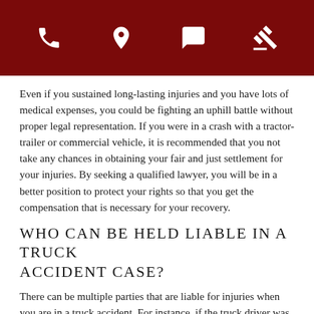[Figure (other): Dark red navigation header bar with four white icons: phone, location pin, chat bubble, gavel/hammer]
Even if you sustained long-lasting injuries and you have lots of medical expenses, you could be fighting an uphill battle without proper legal representation. If you were in a crash with a tractor-trailer or commercial vehicle, it is recommended that you not take any chances in obtaining your fair and just settlement for your injuries. By seeking a qualified lawyer, you will be in a better position to protect your rights so that you get the compensation that is necessary for your recovery.
Who can be held liable in a truck accident case?
There can be multiple parties that are liable for injuries when you are in a truck accident. For instance, if the truck driver was drinking under the influence of alcohol, you could possibly sue the driver's employer for negligent